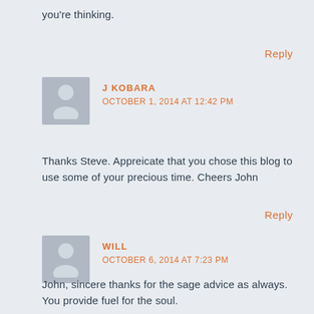you're thinking.
Reply
J KOBARA
OCTOBER 1, 2014 AT 12:42 PM
Thanks Steve. Appreicate that you chose this blog to use some of your precious time. Cheers John
Reply
WILL
OCTOBER 6, 2014 AT 7:23 PM
John, sincere thanks for the sage advice as always. You provide fuel for the soul.